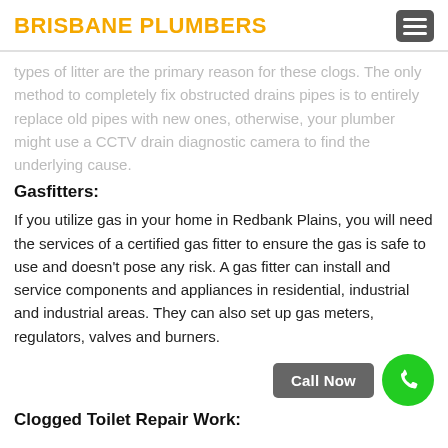BRISBANE PLUMBERS
types of litter are the primary reason for these clogs. The only method to completely fix obstructed drains pipes is to entirely replace old pipes with new ones, otherwise, your plumber might use a CCTV drain diagnostic camera to find the underlying cause.
Gasfitters:
If you utilize gas in your home in Redbank Plains, you will need the services of a certified gas fitter to ensure the gas is safe to use and doesn't pose any risk. A gas fitter can install and service components and appliances in residential, industrial and industrial areas. They can also set up gas meters, regulators, valves and burners.
Clogged Toilet Repair Work: